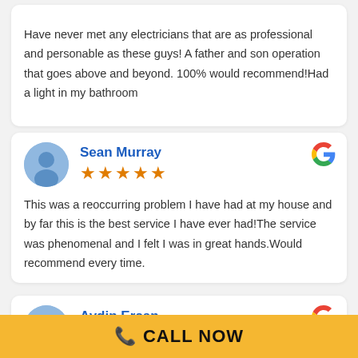Have never met any electricians that are as professional and personable as these guys! A father and son operation that goes above and beyond. 100% would recommend!Had a light in my bathroom
Sean Murray
★★★★★
This was a reoccurring problem I have had at my house and by far this is the best service I have ever had!The service was phenomenal and I felt I was in great hands.Would recommend every time.
Aydin Ercan
☎ CALL NOW